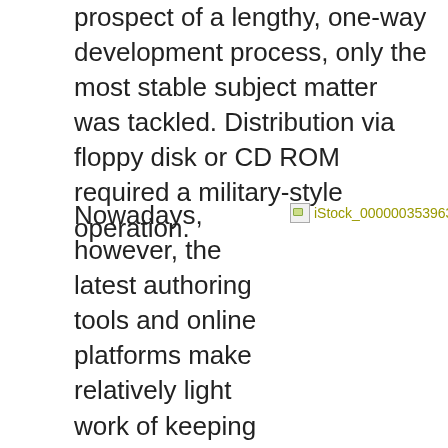prospect of a lengthy, one-way development process, only the most stable subject matter was tackled. Distribution via floppy disk or CD ROM required a military-style operation.
[Figure (photo): Broken image placeholder with filename iStock_000000353963XSmall]
Nowadays, however, the latest authoring tools and online platforms make relatively light work of keeping content bang up-to-date and relevant to learners. By